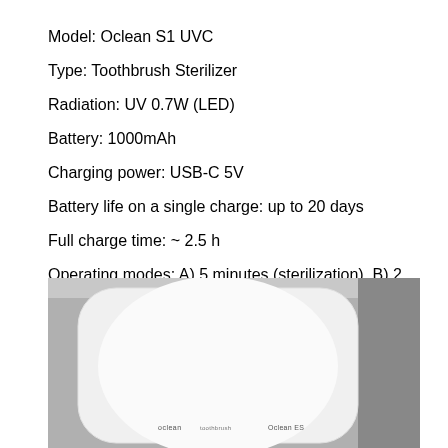Model: Oclean S1 UVC
Type: Toothbrush Sterilizer
Radiation: UV 0.7W (LED)
Battery: 1000mAh
Charging power: USB-C 5V
Battery life on a single charge: up to 20 days
Full charge time: ~ 2.5 h
Operating modes: A) 5 minutes (sterilization), B) 2 minutes (prevention).
Mount: 3M sticker.
Weight: 132 g.
[Figure (photo): Top-down view of the Oclean S1 UVC toothbrush sterilizer showing its white rounded-square body with 'oclean' and 'Oclean ES' text on the front, placed on a gray textured surface.]